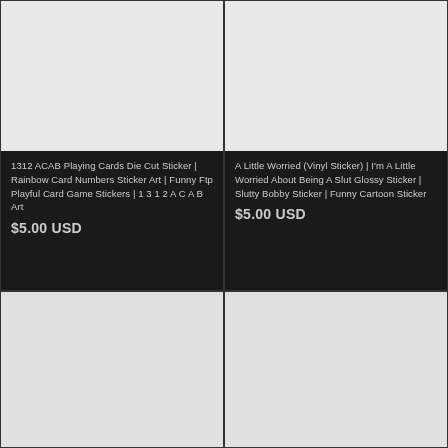[Figure (photo): Product image placeholder for 1312 ACAB Playing Cards sticker - light gray background]
1312 ACAB Playing Cards Die Cut Sticker | Rainbow Card Numbers Sticker Art | Funny Ftp Playful Card Game Stickers | 1 3 1 2 A C A B Art
$5.00 USD
[Figure (photo): Product image placeholder for A Little Worried vinyl sticker - light gray background]
A Little Worried (Vinyl Sticker) | I'm A Little Worried About Being A Slut Glossy Sticker | Slutty Bobby Sticker | Funny Cartoon Sticker
$5.00 USD
[Figure (photo): Product image placeholder - light gray background, bottom left]
[Figure (photo): Product image placeholder - light gray background, bottom right]